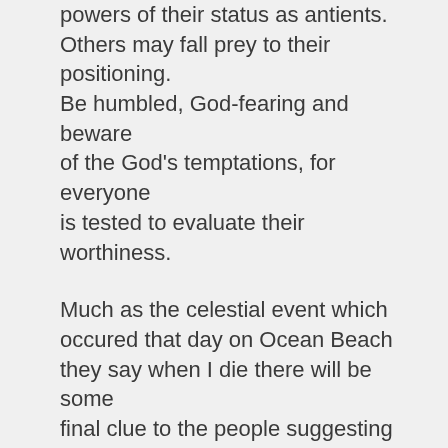powers of their status as antients. Others may fall prey to their positioning. Be humbled, God-fearing and beware of the God's temptations, for everyone is tested to evaluate their worthiness.
Much as the celestial event which occured that day on Ocean Beach they say when I die there will be some final clue to the people suggesting my importance. Perhaps a “Star of Bethlehem” type of event. The entire Situation was a way to offer subtle clues for the “haves”, distration-based theater for the “have-nots”. With this document I am the end-stage “catch-all”, an attempt to help